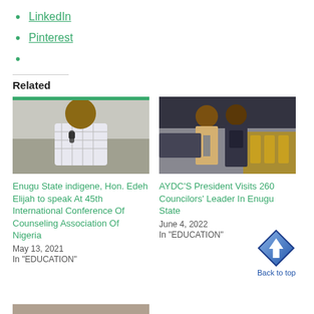LinkedIn
Pinterest
Related
[Figure (photo): Man holding microphone speaking at an event]
Enugu State indigene, Hon. Edeh Elijah to speak At 45th International Conference Of Counseling Association Of Nigeria
May 13, 2021
In "EDUCATION"
[Figure (photo): Two men standing in a venue with chairs in background]
AYDC'S President Visits 260 Councilors' Leader In Enugu State
June 4, 2022
In "EDUCATION"
[Figure (illustration): Blue diamond shaped Back to top button with upward arrow]